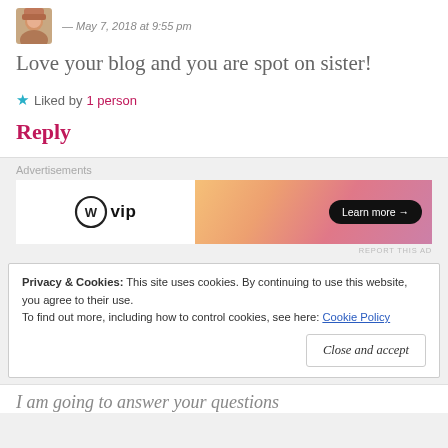[Figure (photo): Small avatar photo of a person, partial view at top]
Love your blog and you are spot on sister!
Liked by 1 person
Reply
Advertisements
[Figure (other): WordPress VIP advertisement banner with orange/pink gradient and Learn more button]
REPORT THIS AD
Privacy & Cookies: This site uses cookies. By continuing to use this website, you agree to their use.
To find out more, including how to control cookies, see here: Cookie Policy
Close and accept
I am going to answer your questions